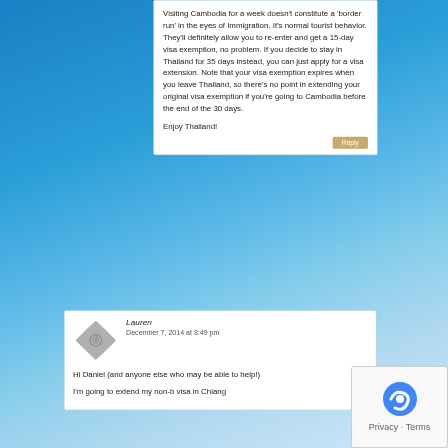Visiting Cambodia for a week doesn't constitute a 'border run' in the eyes of Immigration. It's normal tourist behavior. They'll definitely allow you to re-enter and get a 15-day visa exemption, no problem. If you decide to stay in Thailand for 35 days instead, you can just apply for a visa extension. Note that your visa exemption expires when you leave Thailand, so there's no point in extending your original visa exemption if you're going to Cambodia before the end of the 30 days.
Enjoy Thailand!
Lauren
December 7, 2014 at 8:49 pm
Hi Daniel (and anyone else who may be able to help!)
I'm going to extend my non-b visa in Chiang